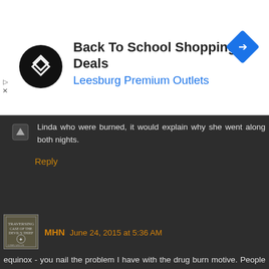[Figure (other): Advertisement banner: Back To School Shopping Deals - Leesburg Premium Outlets, with circular logo and diamond arrow icon]
Linda who were burned, it would explain why she went along both nights.
Reply
MHN June 24, 2015 at 5:36 AM
equinox - you nail the problem I have with the drug burn motive. People who are contemptuous and derisive about Helter Skelter being an invention of Bugliosi often propose instead a motive that has significantly less supporting evidence behind it.
Where is the evidence for the drugs burn? Evidence, as opposed to supposition and guesswork.